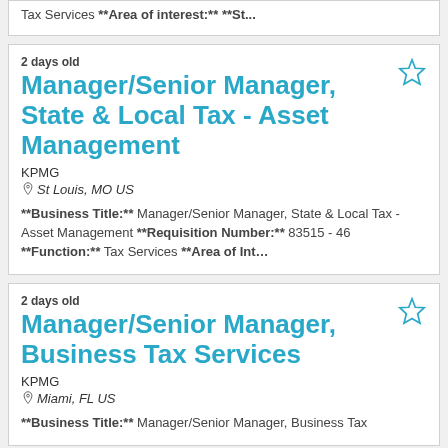Tax Services **Area of Interest:** **St...
2 days old
Manager/Senior Manager, State & Local Tax - Asset Management
KPMG
St Louis, MO US
**Business Title:** Manager/Senior Manager, State & Local Tax - Asset Management **Requisition Number:** 83515 - 46 **Function:** Tax Services **Area of Int...
2 days old
Manager/Senior Manager, Business Tax Services
KPMG
Miami, FL US
**Business Title:** Manager/Senior Manager, Business Tax